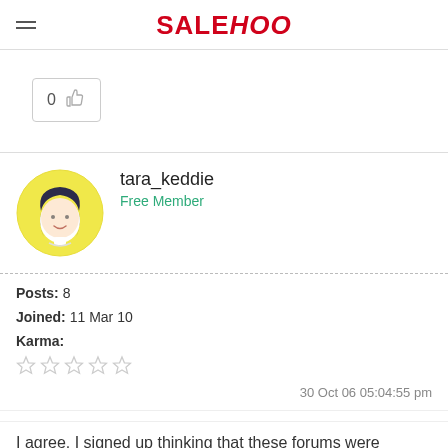SALEHOO
[Figure (infographic): Vote button with thumbs up icon showing 0 votes]
tara_keddie
Free Member
Posts: 8
Joined: 11 Mar 10
Karma:
[Figure (other): Five empty star rating icons for karma]
30 Oct 06 05:04:55 pm
I agree. I signed up thinking that these forums were private